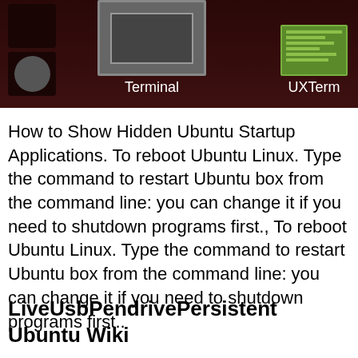[Figure (screenshot): Screenshot of a Linux desktop showing application icons including Terminal and UXTerm on a dark red/maroon background]
How to Show Hidden Ubuntu Startup Applications. To reboot Ubuntu Linux. Type the command to restart Ubuntu box from the command line: you can change it if you need to shutdown programs first., To reboot Ubuntu Linux. Type the command to restart Ubuntu box from the command line: you can change it if you need to shutdown programs first..
LiveUsbPendrivePersistent Ubuntu Wiki